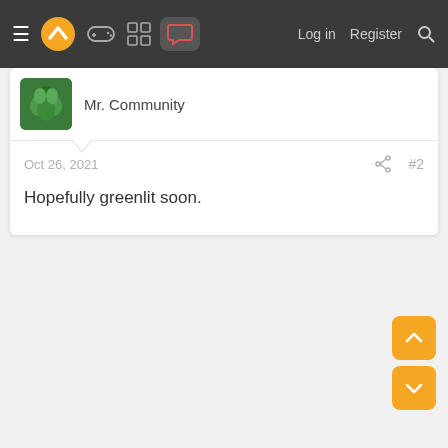≡ [logo] [gamepad icon] [grid icon] [chat icon active] Log in Register [search]
Mr. Community
Oct 26, 2021   #2
Hopefully greenlit soon.